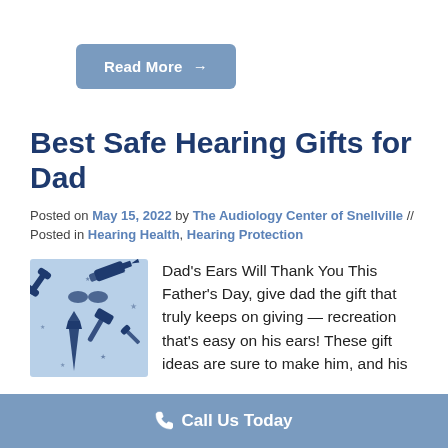[Figure (illustration): Blue rounded rectangle button with white text 'Read More →']
Best Safe Hearing Gifts for Dad
Posted on May 15, 2022 by The Audiology Center of Snellville // Posted in Hearing Health, Hearing Protection
[Figure (illustration): Blue illustration showing Father's Day themed icons: tools, tie, stars on light blue background]
Dad's Ears Will Thank You This Father's Day, give dad the gift that truly keeps on giving — recreation that's easy on his ears! These gift ideas are sure to make him, and his
Call Us Today